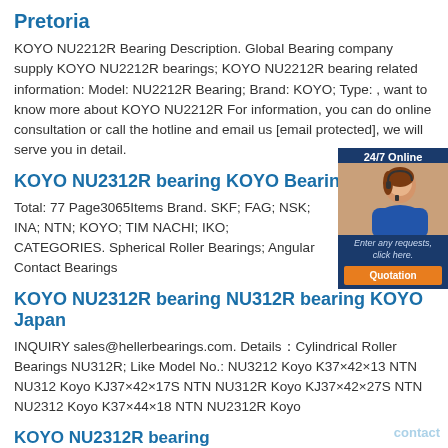Pretoria
KOYO NU2212R Bearing Description. Global Bearing company supply KOYO NU2212R bearings; KOYO NU2212R bearing related information: Model: NU2212R Bearing; Brand: KOYO; Type: , want to know more about KOYO NU2212R For information, you can do online consultation or call the hotline and email us [email protected], we will serve you in detail.
KOYO NU2312R bearing KOYO Bearing
Total: 77 Page3065Items Brand. SKF; FAG; NSK; INA; NTN; KOYO; TIM NACHI; IKO; CATEGORIES. Spherical Roller Bearings; Angular Contact Bearings
KOYO NU2312R bearing NU312R bearing KOYO Japan
INQUIRY sales@hellerbearings.com. Details：Cylindrical Roller Bearings NU312R; Like Model No.: NU3212 Koyo K37×42×13 NTN NU312 Koyo KJ37×42×17S NTN NU312R Koyo KJ37×42×27S NTN NU2312 Koyo K37×44×18 NTN NU2312R Koyo
KOYO NU2312R bearing KOYO|NU2226E|32526E|bearings
NU2226E KOYO Cylindrical Roller Bearings size specifications: Bore - outer diameter - Width 130 - 230 - 64mm, the original NU2226E KOYO bearing after a period of operation, the original NU2226E KOYO bearing needs to prevent the occurrence of NU2226E KOYO bearing failure, it is very important for the